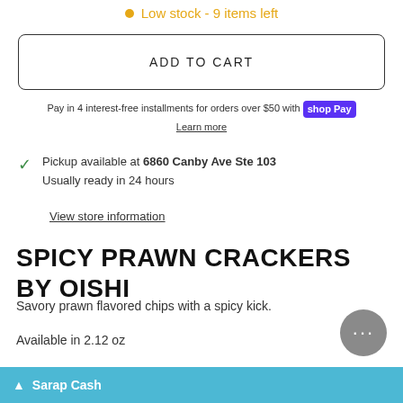Low stock - 9 items left
ADD TO CART
Pay in 4 interest-free installments for orders over $50 with shop Pay
Learn more
Pickup available at 6860 Canby Ave Ste 103
Usually ready in 24 hours
View store information
SPICY PRAWN CRACKERS BY OISHI
Savory prawn flavored chips with a spicy kick.
Available in 2.12 oz
Ingredients: Wheat (Contains Gluten), Tapioca Starch, Palm Olein, Corn Starch, Sugar, Potato